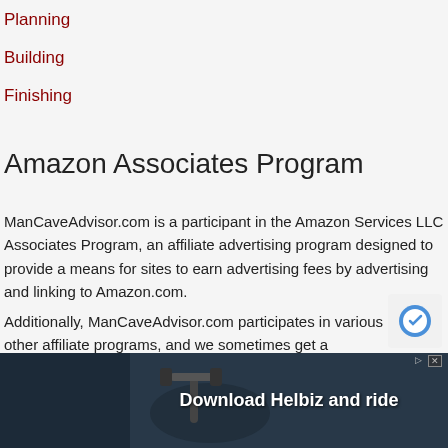Planning
Building
Finishing
Amazon Associates Program
ManCaveAdvisor.com is a participant in the Amazon Services LLC Associates Program, an affiliate advertising program designed to provide a means for sites to earn advertising fees by advertising and linking to Amazon.com.
Additionally, ManCaveAdvisor.com participates in various other affiliate programs, and we sometimes get a commission through purchases made through our links.
[Figure (photo): Advertisement banner for Helbiz scooter rental app showing a scooter handlebar with text 'Download Helbiz and ride']